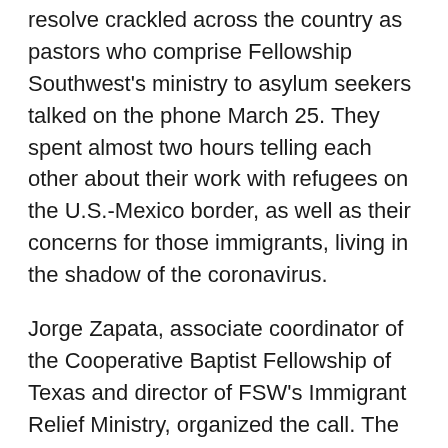resolve crackled across the country as pastors who comprise Fellowship Southwest's ministry to asylum seekers talked on the phone March 25. They spent almost two hours telling each other about their work with refugees on the U.S.-Mexico border, as well as their concerns for those immigrants, living in the shadow of the coronavirus.
Jorge Zapata, associate coordinator of the Cooperative Baptist Fellowship of Texas and director of FSW's Immigrant Relief Ministry, organized the call. The pastors represented the breadth of the border: Carlos Navarro of Iglesia Bautista West Brownsville in Brownsville, Texas; Rogelio Pérez of Iglesia Bautista Capernaum in Olmito, Texas; Lorenzo Ortiz of Iglesia Bautista El Buen Samaritano in Laredo, Texas; Israel Rodríguez of Primera Iglesia Bautista in Piedras Negras, Coahuila, Mexico;